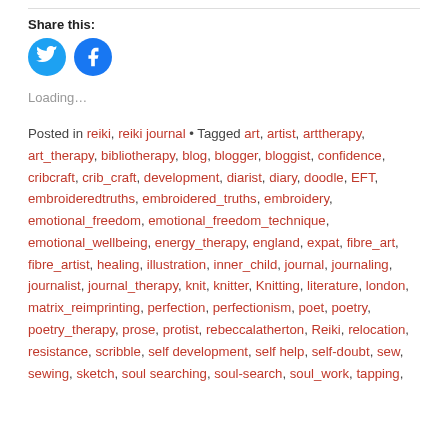Share this:
[Figure (illustration): Two circular social media sharing buttons: Twitter (blue bird icon) and Facebook (blue f icon)]
Loading...
Posted in reiki, reiki journal • Tagged art, artist, arttherapy, art_therapy, bibliotherapy, blog, blogger, bloggist, confidence, cribcraft, crib_craft, development, diarist, diary, doodle, EFT, embroideredtruths, embroidered_truths, embroidery, emotional_freedom, emotional_freedom_technique, emotional_wellbeing, energy_therapy, england, expat, fibre_art, fibre_artist, healing, illustration, inner_child, journal, journaling, journalist, journal_therapy, knit, knitter, Knitting, literature, london, matrix_reimprinting, perfection, perfectionism, poet, poetry, poetry_therapy, prose, protist, rebeccalatherton, Reiki, relocation, resistance, scribble, self development, self help, self-doubt, sew, sewing, sketch, soul searching, soul-search, soul_work, tapping,